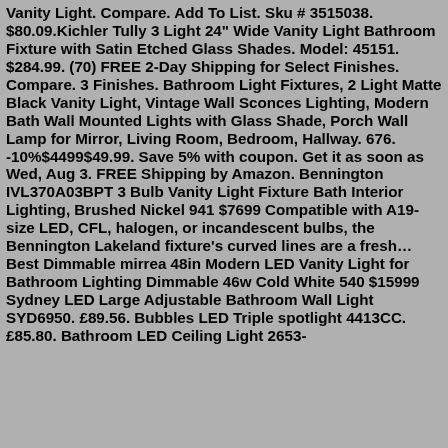Vanity Light. Compare. Add To List. Sku # 3515038. $80.09.Kichler Tully 3 Light 24" Wide Vanity Light Bathroom Fixture with Satin Etched Glass Shades. Model: 45151. $284.99. (70) FREE 2-Day Shipping for Select Finishes. Compare. 3 Finishes. Bathroom Light Fixtures, 2 Light Matte Black Vanity Light, Vintage Wall Sconces Lighting, Modern Bath Wall Mounted Lights with Glass Shade, Porch Wall Lamp for Mirror, Living Room, Bedroom, Hallway. 676. -10%$4499$49.99. Save 5% with coupon. Get it as soon as Wed, Aug 3. FREE Shipping by Amazon. Bennington IVL370A03BPT 3 Bulb Vanity Light Fixture Bath Interior Lighting, Brushed Nickel 941 $7699 Compatible with A19-size LED, CFL, halogen, or incandescent bulbs, the Bennington Lakeland fixture's curved lines are a fresh… Best Dimmable mirrea 48in Modern LED Vanity Light for Bathroom Lighting Dimmable 46w Cold White 540 $15999 Sydney LED Large Adjustable Bathroom Wall Light SYD6950. £89.56. Bubbles LED Triple spotlight 4413CC. £85.80. Bathroom LED Ceiling Light 2653-